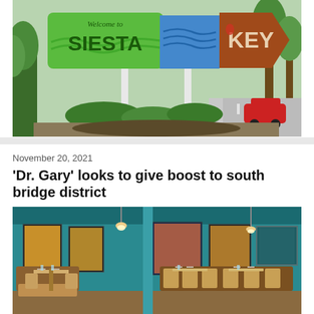[Figure (photo): Welcome to Siesta Key sign — a colorful outdoor sign with green surfboard shape and blue/red arrow shapes on white poles, surrounded by palm trees and rocks]
November 20, 2021
'Dr. Gary' looks to give boost to south bridge district
[Figure (photo): Interior of a coastal-themed restaurant with teal/turquoise walls, wooden tables and chairs, wall art paintings, and pendant lighting]